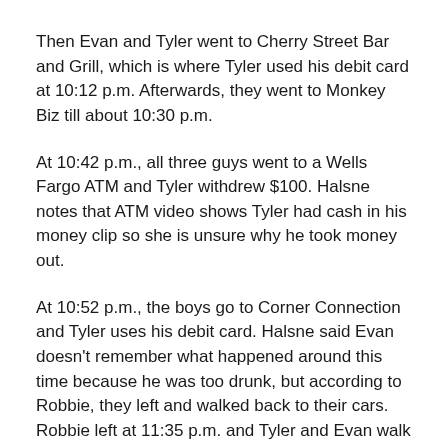Then Evan and Tyler went to Cherry Street Bar and Grill, which is where Tyler used his debit card at 10:12 p.m. Afterwards, they went to Monkey Biz till about 10:30 p.m.
At 10:42 p.m., all three guys went to a Wells Fargo ATM and Tyler withdrew $100. Halsne notes that ATM video shows Tyler had cash in his money clip so she is unsure why he took money out.
At 10:52 p.m., the boys go to Corner Connection and Tyler uses his debit card. Halsne said Evan doesn't remember what happened around this time because he was too drunk, but according to Robbie, they left and walked back to their cars. Robbie left at 11:35 p.m. and Tyler and Evan walk to Evan's car. Although, Evan doesn't remember what happened to Tyler; Evan walked home.